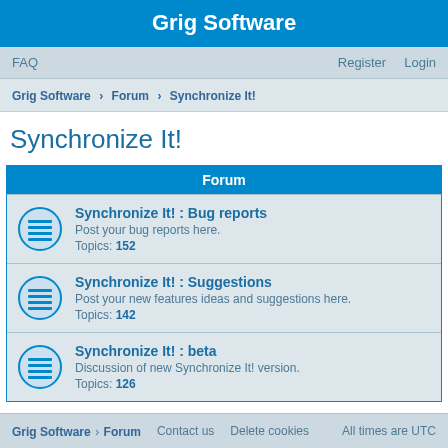Grig Software
FAQ    Register    Login
Grig Software › Forum › Synchronize It!
Synchronize It!
Forum
Synchronize It! : Bug reports
Post your bug reports here.
Topics: 152
Synchronize It! : Suggestions
Post your new features and suggestions here.
Topics: 142
Synchronize It! : beta
Discussion of new Synchronize It! version.
Topics: 126
Jump to
Grig Software › Forum    Contact us    Delete cookies    All times are UTC